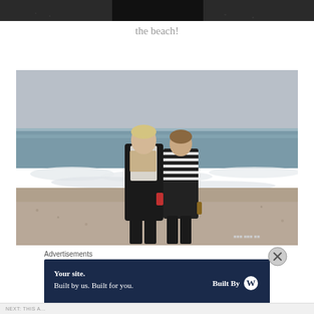[Figure (photo): Top partial photo showing feet/shoes on a surface, cropped at top of page]
the beach!
[Figure (photo): Two young women standing on a beach near the water's edge. Left woman wears black jacket, white shirt, and patterned scarf, holding red shoes. Right woman wears a black and white striped top. Overcast day, waves visible behind them.]
Advertisements
[Figure (other): WordPress advertisement banner: 'Your site. Built by us. Built for you.' with 'Built By' WordPress logo on dark navy background]
NEXT: THIS A...